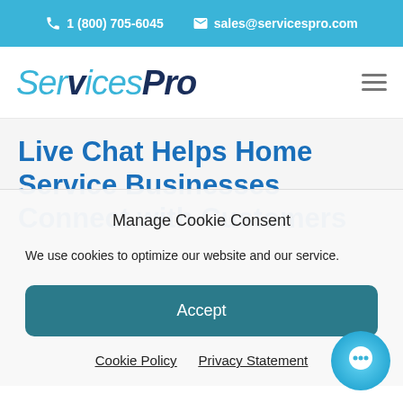1 (800) 705-6045  sales@servicespro.com
[Figure (logo): ServicesPro company logo in italic font, 'Services' in light blue and 'Pro' in dark navy blue]
Live Chat Helps Home Service Businesses Connect with Customers Safely
Manage Cookie Consent
We use cookies to optimize our website and our service.
Accept
Cookie Policy  Privacy Statement